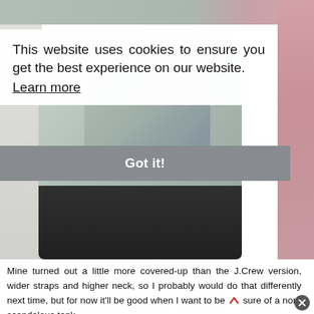[Figure (photo): Photo of a light blue ruffled tank top being worn, with dark pants visible at the bottom. Pink floral fabric visible in the background on the right side.]
This website uses cookies to ensure you get the best experience on our website. Learn more
Got it!
Mine turned out a little more covered-up than the J.Crew version, wider straps and higher neck, so I probably would do that differently next time, but for now it'll be good when I want to be sure of a non-scandalous tank.